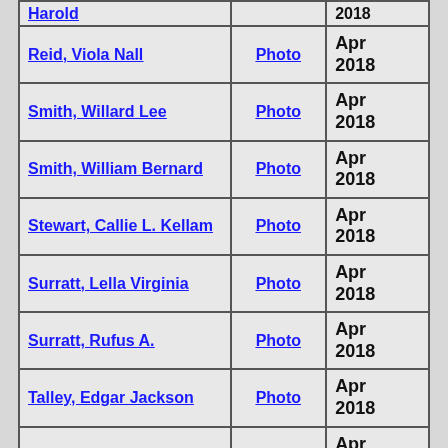| Name | Photo | Date |
| --- | --- | --- |
| Harold (partial) | Photo | 2018 (partial) |
| Reid, Viola Nall | Photo | Apr 2018 |
| Smith, Willard Lee | Photo | Apr 2018 |
| Smith, William Bernard | Photo | Apr 2018 |
| Stewart, Callie L. Kellam | Photo | Apr 2018 |
| Surratt, Lella Virginia | Photo | Apr 2018 |
| Surratt, Rufus A. | Photo | Apr 2018 |
| Talley, Edgar Jackson | Photo | Apr 2018 |
| Talley, Gillie Ann | Photo | Apr 2018 |
| Thomas, Curry C. | Photo | Apr 2018 |
| (partial) | Photo | Apr 2018 (partial) |